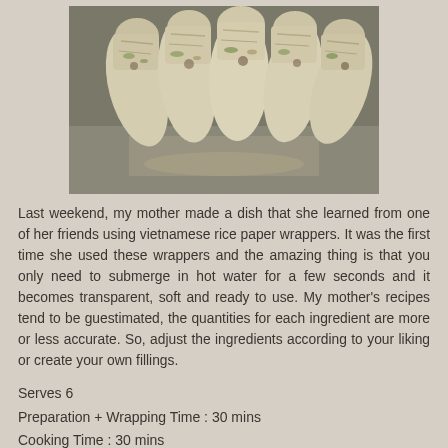[Figure (photo): Photograph of Vietnamese rice paper rolls arranged on a metal tray, viewed from above. Several translucent wrapped rolls are visible.]
Last weekend, my mother made a dish that she learned from one of her friends using vietnamese rice paper wrappers. It was the first time she used these wrappers and the amazing thing is that you only need to submerge in hot water for a few seconds and it becomes transparent, soft and ready to use. My mother's recipes tend to be guestimated, the quantities for each ingredient are more or less accurate. So, adjust the ingredients according to your liking or create your own fillings.
Serves 6
Preparation + Wrapping Time : 30 mins
Cooking Time : 30 mins
Printable Recipe